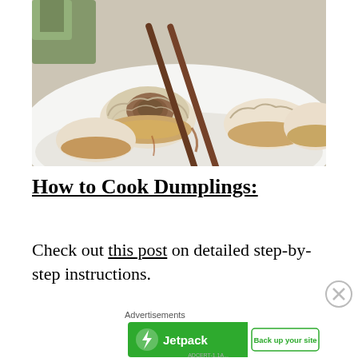[Figure (photo): Pan-fried dumplings on a white plate being held by chopsticks, showing the filling inside one opened dumpling, with crispy golden bottoms visible.]
How to Cook Dumplings:
Check out this post on detailed step-by-step instructions.
Advertisements
[Figure (other): Jetpack advertisement banner with green background showing Jetpack logo and 'Back up your site' button]